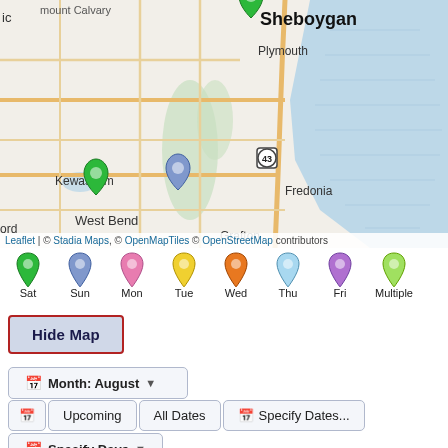[Figure (map): Interactive map showing Wisconsin area including Sheboygan, Plymouth, Kewaskum, West Bend, Fredonia, Grafton locations with map pins (green and blue). Lake Michigan visible on right side. Roads and natural features shown.]
Leaflet | © Stadia Maps, © OpenMapTiles © OpenStreetMap contributors
[Figure (infographic): Map pin legend showing day-of-week color coding: Sat (green), Sun (blue/purple), Mon (pink), Tue (yellow), Wed (orange), Thu (light blue), Fri (purple), Multiple (light green)]
Hide Map
Month: August ▼
📅  Upcoming  All Dates  📅 Specify Dates...
📅 Specify Days ▼